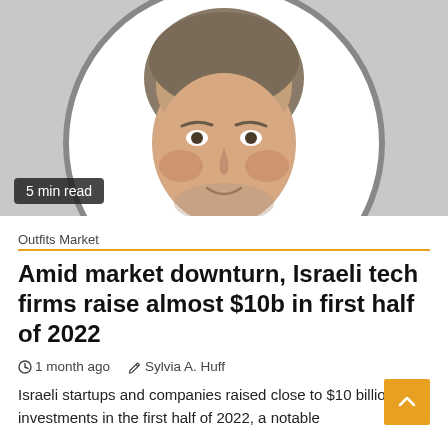[Figure (photo): Portrait photo of a middle-aged man with grey-brown hair and stubble, wearing a blue checkered shirt, shown in a circular crop on a grey background. Badge overlay reads '5 min read'.]
Outfits Market
Amid market downturn, Israeli tech firms raise almost $10b in first half of 2022
1 month ago   Sylvia A. Huff
Israeli startups and companies raised close to $10 billion in investments in the first half of 2022, a notable